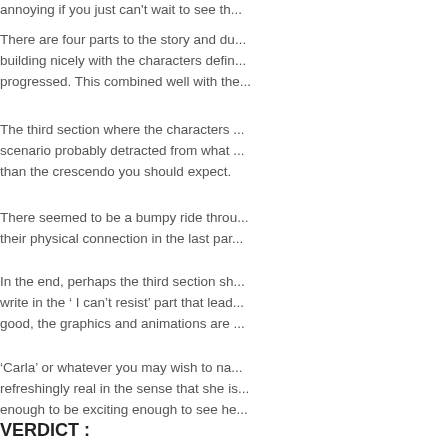annoying if you just can't wait to see th...
There are four parts to the story and du... building nicely with the characters defin... progressed. This combined well with the...
The third section where the characters ... scenario probably detracted from what ... than the crescendo you should expect.
There seemed to be a bumpy ride throu... their physical connection in the last par...
In the end, perhaps the third section sh... write in the ' I can't resist' part that lead... good, the graphics and animations are ...
'Carla' or whatever you may wish to na... refreshingly real in the sense that she is... enough to be exciting enough to see he...
VERDICT :